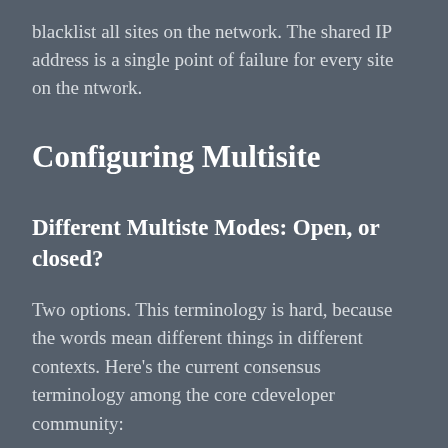blacklist all sites on the network. The shared IP address is a single point of failure for every site on the ntwork.
Configuring Multisite
Different Multiste Modes: Open, or closed?
Two options. This terminology is hard, because the words mean different things in different contexts. Here’s the current consensus terminology among the core cdeveloper community: